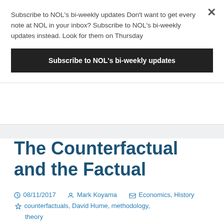Subscribe to NOL's bi-weekly updates Don't want to get every note at NOL in your inbox? Subscribe to NOL's bi-weekly updates instead. Look for them on Thursday
Subscribe to NOL's bi-weekly updates
The Counterfactual and the Factual
08/11/2017  Mark Koyama  Economics, History  counterfactuals, David Hume, methodology, theory